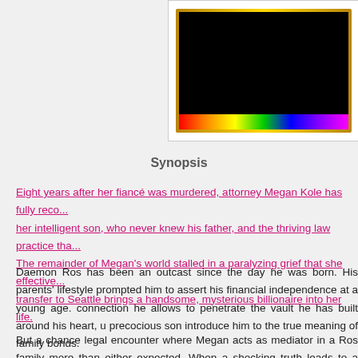[Figure (photo): Book cover image with rainbow-colored border and dark/black center against white background]
Synopsis
Eight years after her fiancé was murdered, attorney Megan Kole has fully reco... her intelligent son, who never knew his father, and the thriving law practice tha... The remainder of Megan's world stalled in a paralyzing grief that she effective... transfer to Seattle brings a handsome, mysterious billionaire into her life.
Daemon Ros has been an outcast since the day he was born. His parents' lifestyle prompted him to assert his financial independence at a young age... connection he allows to penetrate the vault he has built around his heart, u... precocious son introduce him to the true meaning of family bonds.
But a chance legal encounter where Megan acts as mediator in a Ros family... more than either expected. When a shocking truth leads to a love affair betw...